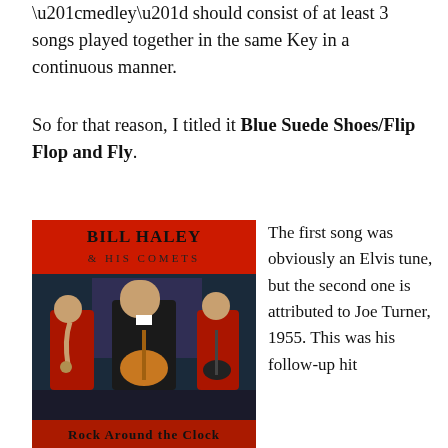“medley” should consist of at least 3 songs played together in the same Key in a continuous manner.
So for that reason, I titled it Blue Suede Shoes/Flip Flop and Fly.
[Figure (photo): Album cover for Bill Haley & His Comets 'Rock Around the Clock' showing the band performing on stage in red jackets, with Bill Haley playing guitar in the center.]
The first song was obviously an Elvis tune, but the second one is attributed to Joe Turner, 1955. This was his follow-up hit